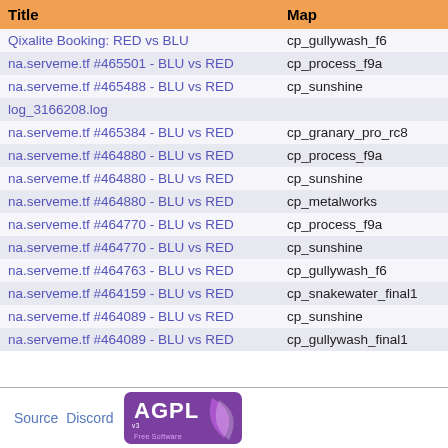| Title | Map |
| --- | --- |
| Qixalite Booking: RED vs BLU | cp_gullywash_f6 |
| na.serveme.tf #465501 - BLU vs RED | cp_process_f9a |
| na.serveme.tf #465488 - BLU vs RED | cp_sunshine |
| log_3166208.log |  |
| na.serveme.tf #465384 - BLU vs RED | cp_granary_pro_rc8 |
| na.serveme.tf #464880 - BLU vs RED | cp_process_f9a |
| na.serveme.tf #464880 - BLU vs RED | cp_sunshine |
| na.serveme.tf #464880 - BLU vs RED | cp_metalworks |
| na.serveme.tf #464770 - BLU vs RED | cp_process_f9a |
| na.serveme.tf #464770 - BLU vs RED | cp_sunshine |
| na.serveme.tf #464763 - BLU vs RED | cp_gullywash_f6 |
| na.serveme.tf #464159 - BLU vs RED | cp_snakewater_final1 |
| na.serveme.tf #464089 - BLU vs RED | cp_sunshine |
| na.serveme.tf #464089 - BLU vs RED | cp_gullywash_final1 |
Source  Discord